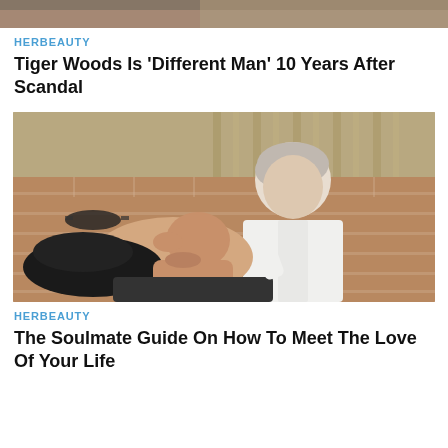[Figure (photo): Top portion of a photo, cropped — shows the top of a person's head/background]
HERBEAUTY
Tiger Woods Is 'Different Man' 10 Years After Scandal
[Figure (photo): Couple embracing romantically outdoors against a brick wall with bamboo fence background — older gray-haired man in white shirt leans over a dark-haired woman lying back]
HERBEAUTY
The Soulmate Guide On How To Meet The Love Of Your Life